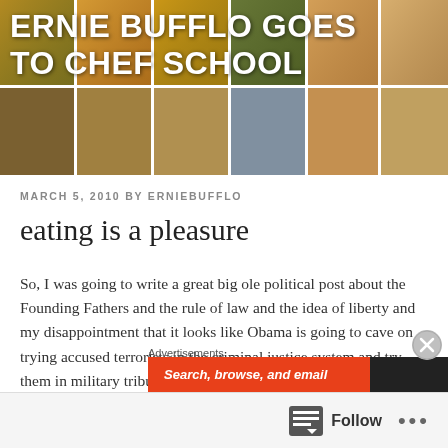[Figure (photo): Header banner with a 2-row grid of colorful food photos as background for the blog title]
ERNIE BUFFLO GOES TO CHEF SCHOOL
MARCH 5, 2010 BY ERNIEBUFFLO
eating is a pleasure
So, I was going to write a great big ole political post about the Founding Fathers and the rule of law and the idea of liberty and my disappointment that it looks like Obama is going to cave on trying accused terrorists in the criminal justice system and try them in military tribunals instead, but it's the day I start my vacation and I just don't have it in me. So maybe that post will show up
Advertisements
[Figure (screenshot): Advertisement banner: orange background with italic bold text 'Search, browse, and email' and a dark section on the right]
Follow ...